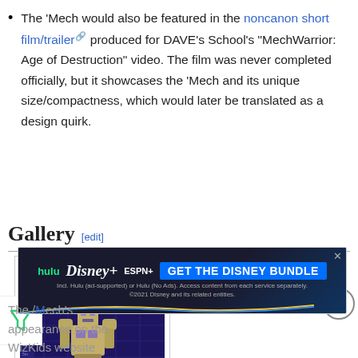The 'Mech would also be featured in the noncanon short film/trailer [external link] produced for DAVE's School's "MechWarrior: Age of Destruction" video. The film was never completed officially, but it showcases the 'Mech and its unique size/compactness, which would later be translated as a design quirk.
Gallery [edit]
[Figure (photo): A robot mech figure displayed against a dark blue grid/ruler background showing scale. The mech is metallic gold/yellow with a humanoid form.]
[Figure (other): Advertisement banner for Disney Bundle: hulu, Disney+, ESPN+. Text: GET THE DISNEY BUNDLE. Incl. Hulu (ad-supported) or Hulu (No Ads). Access content from each service separately. ©2021 Disney and its related entities.]
The /Mech's appearance on the WizKids website